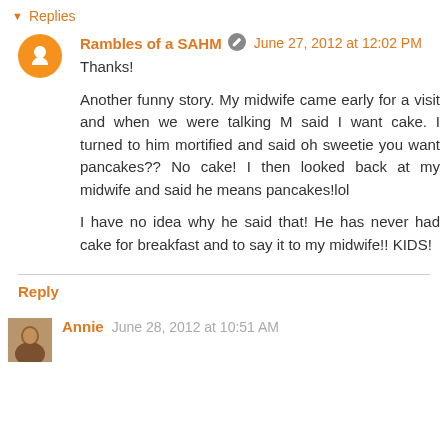▼ Replies
Rambles of a SAHM  June 27, 2012 at 12:02 PM
Thanks!

Another funny story. My midwife came early for a visit and when we were talking M said I want cake. I turned to him mortified and said oh sweetie you want pancakes?? No cake! I then looked back at my midwife and said he means pancakes!lol

I have no idea why he said that! He has never had cake for breakfast and to say it to my midwife!! KIDS!
Reply
Annie  June 28, 2012 at 10:51 AM